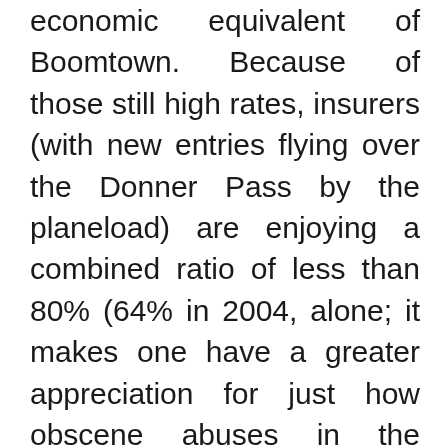economic equivalent of Boomtown. Because of those still high rates, insurers (with new entries flying over the Donner Pass by the planeload) are enjoying a combined ratio of less than 80% (64% in 2004, alone; it makes one have a greater appreciation for just how obscene abuses in the system really were). The biggest problem their senior managements have is figuring out if they can get trucks large enough to carry all the money to the bank. Like the original Gold Rush, these good times will last for a few more